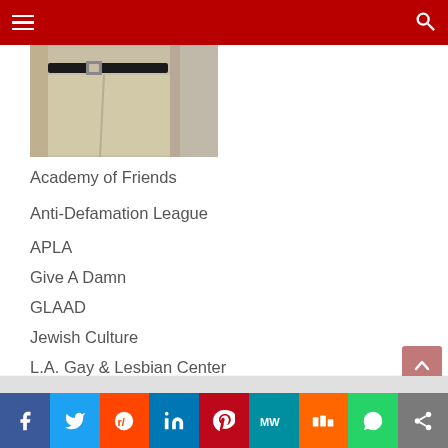Navigation menu header bar
[Figure (photo): Cropped photo of a person from waist down wearing khaki pants and a black belt]
Academy of Friends
Anti-Defamation League
APLA
Give A Damn
GLAAD
Jewish Culture
L.A. Gay & Lesbian Center
Lamda Legal
LGBT Community Center
Pflag.org
Social share bar: Facebook, Twitter, Reddit, LinkedIn, Pinterest, MeWe, Mix, WhatsApp, Share